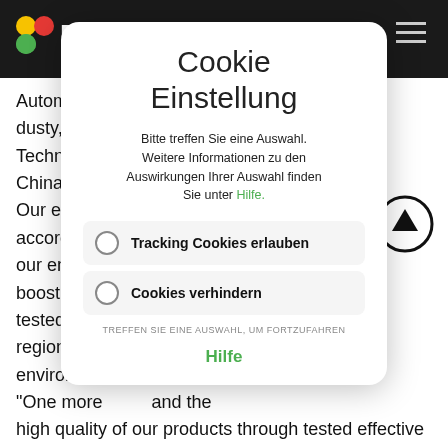BIZOL
Automecha... cold, hot, dusty, humi... nge of Technical S... hops in China are la... Our enginee... prays according to... car. Also our enginee... protect and boost engi... have been tested in ex... traffic, regions with... mid environmer...
Cookie Einstellung
Bitte treffen Sie eine Auswahl. Weitere Informationen zu den Auswirkungen Ihrer Auswahl finden Sie unter Hilfe.
Tracking Cookies erlauben
Cookies verhindern
TREFFEN SIE EINE AUSWAHL, UM FORTZUFAHREN
Hilfe
"One more ... and the high quality of our products through tested effective formulations and design" says proudly, BIZOL CEO Boris Tatievski.
"The Additives are labelled according to their usage with...